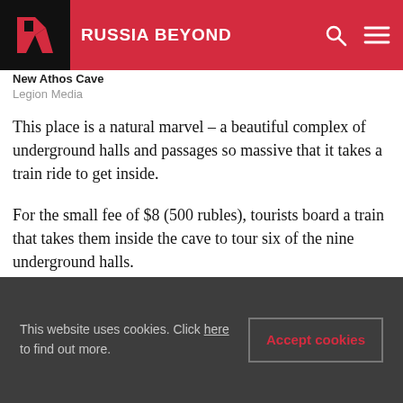RUSSIA BEYOND
New Athos Cave
Legion Media
This place is a natural marvel – a beautiful complex of underground halls and passages so massive that it takes a train ride to get inside.
For the small fee of $8 (500 rubles), tourists board a train that takes them inside the cave to tour six of the nine underground halls.
“We drove into the cave onboard of a train (!) and passed through six of the nine caves. It’s
This website uses cookies. Click here to find out more.